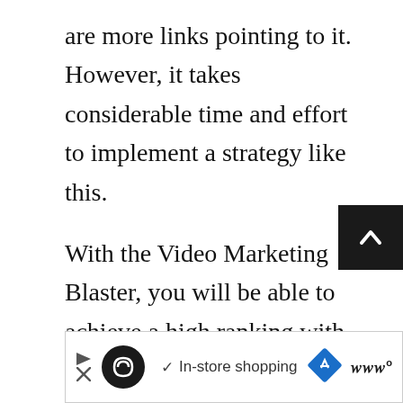are more links pointing to it. However, it takes considerable time and effort to implement a strategy like this.
With the Video Marketing Blaster, you will be able to achieve a high ranking with less cost. The software focuses more on the SEO of the page than the backlinks. This means you are able to have the best titles, descriptions, tags, and other keywords that search engines place more emphasis on.
[Figure (other): Scroll-to-top button: dark square with upward-pointing caret arrow]
[Figure (other): Advertisement banner: circular logo icon, checkmark, 'In-store shopping' text, diamond-shaped navigation icon, and brand logo]